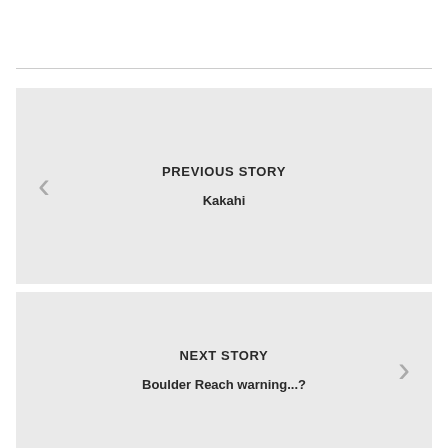PREVIOUS STORY
Kakahi
NEXT STORY
Boulder Reach warning...?